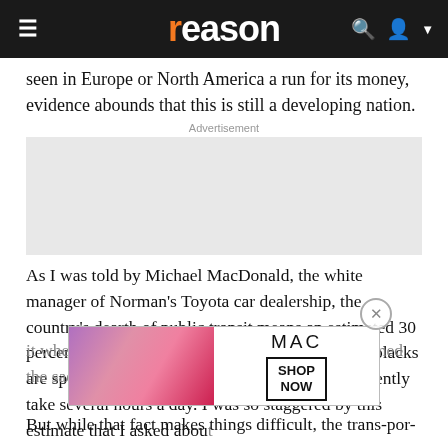reason
seen in Europe or North America a run for its money, evidence abounds that this is still a developing nation.
Advertisement
[Figure (other): Grey advertisement placeholder box]
As I was told by Michael MacDonald, the white manager of Norman's Toyota car dealership, the country's dearth of public transit means an estimated 30 percent to 50 percent of the average net wages of blacks are spent paying for work commutes, which frequently take several hours a day. I was so staggered by this estimate that I asked about it wherever I went. Numerous other people confirmed the sad fa...
[Figure (photo): MAC lipstick advertisement with colorful lipsticks and SHOP NOW button]
But while that fact makes things difficult, the trans-por-